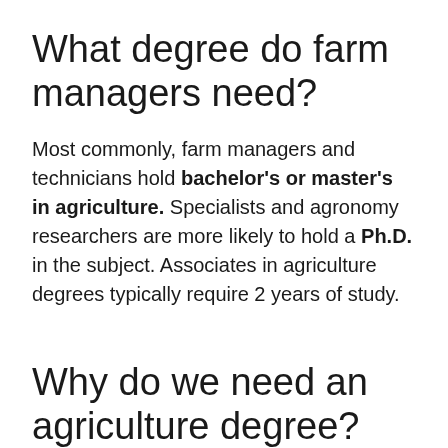What degree do farm managers need?
Most commonly, farm managers and technicians hold bachelor's or master's in agriculture. Specialists and agronomy researchers are more likely to hold a Ph.D. in the subject. Associates in agriculture degrees typically require 2 years of study.
Why do we need an agriculture degree?